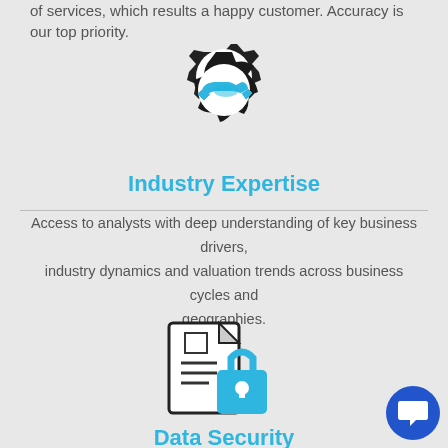of services, which results a happy customer. Accuracy is our top priority.
[Figure (illustration): Gear icon with handshake inside, representing Industry Expertise]
Industry Expertise
Access to analysts with deep understanding of key business drivers, industry dynamics and valuation trends across business cycles and geographies.
[Figure (illustration): Document with lock icon, representing Data Security]
Data Security
Data Security has always been important. We ensure that da... accessed by our authorized team only and adopt controls to protect you